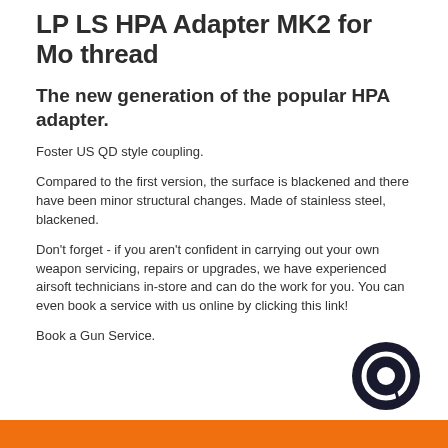LP LS HPA Adapter MK2 for Mo thread
The new generation of the popular HPA adapter.
Foster US QD style coupling.
Compared to the first version, the surface is blackened and there have been minor structural changes. Made of stainless steel, blackened.
Don't forget - if you aren't confident in carrying out your own weapon servicing, repairs or upgrades, we have experienced airsoft technicians in-store and can do the work for you. You can even book a service with us online by clicking this link!
Book a Gun Service.